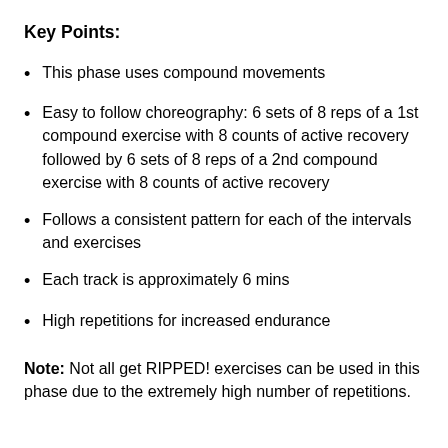Key Points:
This phase uses compound movements
Easy to follow choreography: 6 sets of 8 reps of a 1st compound exercise with 8 counts of active recovery followed by 6 sets of 8 reps of a 2nd compound exercise with 8 counts of active recovery
Follows a consistent pattern for each of the intervals and exercises
Each track is approximately 6 mins
High repetitions for increased endurance
Note: Not all get RIPPED! exercises can be used in this phase due to the extremely high number of repetitions.